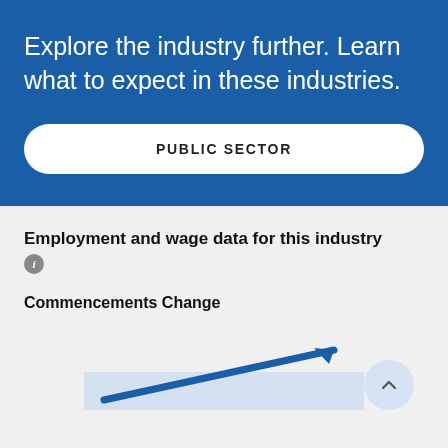Explore the industry further. Learn what to expect in these industries.
PUBLIC SECTOR
Employment and wage data for this industry
Commencements Change
[Figure (other): Arrow chart showing commencements change trend with an upward-pointing dark blue arrow and a light blue shaded bar beneath it, partially visible at bottom of page]